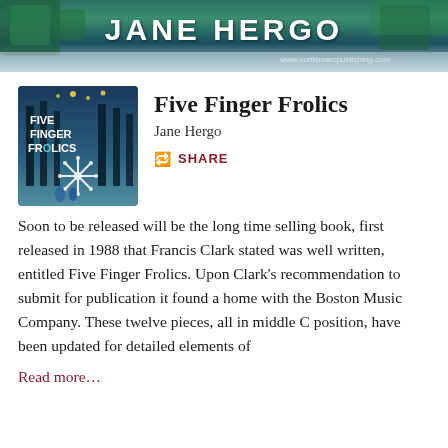[Figure (illustration): Banner image with teal/green illustrated background and 'JANE HERGO' text in white bold letters, with a URL watermark at the bottom right]
[Figure (illustration): Book cover for 'Five Finger Frolics' showing a dark forest scene with a snowflake at bottom and stars, teal/blue color scheme]
Five Finger Frolics
Jane Hergo
SHARE
Soon to be released will be the long time selling book, first released in 1988 that Francis Clark stated was well written, entitled Five Finger Frolics. Upon Clark's recommendation to submit for publication it found a home with the Boston Music Company. These twelve pieces, all in middle C position, have been updated for detailed elements of
Read more…